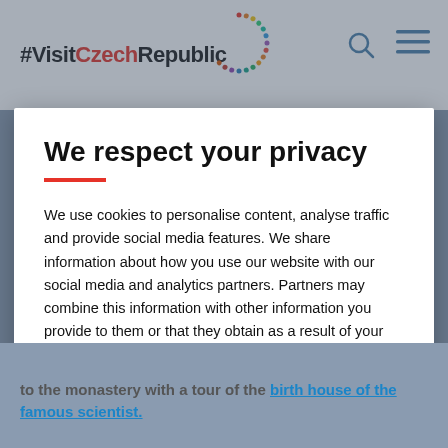#VisitCzechRepublic
We respect your privacy
We use cookies to personalise content, analyse traffic and provide social media features. We share information about how you use our website with our social media and analytics partners. Partners may combine this information with other information you provide to them or that they obtain as a result of your use of their services. You can find more details here. Detailed settings
ACCEPT ALL COOKIES
to the monastery with a tour of the birth house of the famous scientist.